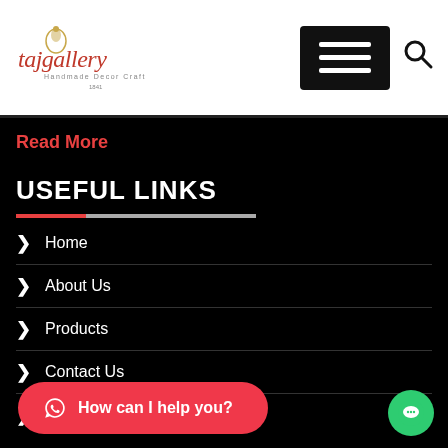tajgallery — navigation header with hamburger menu and search icon
Read More
USEFUL LINKS
Home
About Us
Products
Contact Us
Terms & Conditions (partial)
How can I help you?